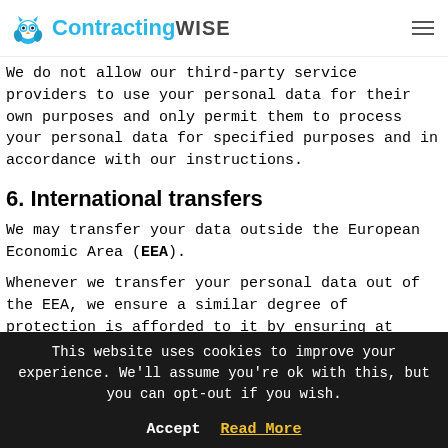ContractingWISE
We do not allow our third-party service providers to use your personal data for their own purposes and only permit them to process your personal data for specified purposes and in accordance with our instructions.
6. International transfers
We may transfer your data outside the European Economic Area (EEA).
Whenever we transfer your personal data out of the EEA, we ensure a similar degree of protection is afforded to it by ensuring at least one of the following safeguards is
This website uses cookies to improve your experience. We'll assume you're ok with this, but you can opt-out if you wish.